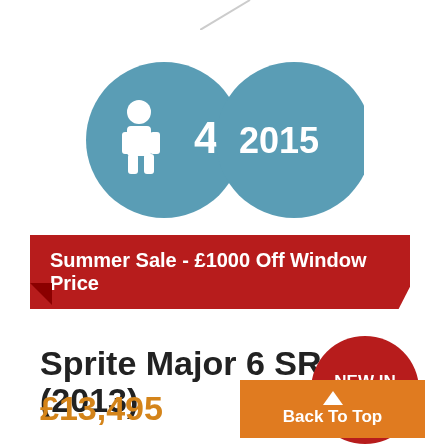[Figure (infographic): Two teal/steel-blue circles: left circle shows a person icon with number 4 (seats/berths), right circle shows '2015' (year)]
Summer Sale - £1000 Off Window Price
Sprite Major 6 SR (2013)
[Figure (infographic): Dark red circle badge with white bold text 'NEW IN']
£13,495
Back To Top